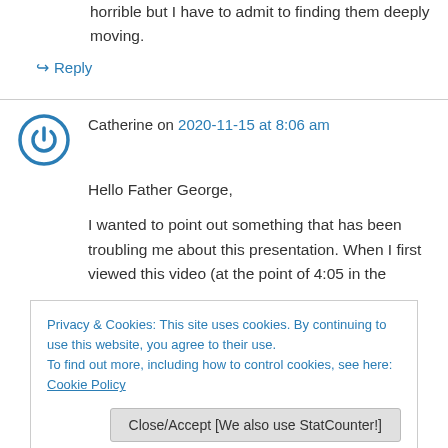horrible but I have to admit to finding them deeply moving.
↪ Reply
Catherine on 2020-11-15 at 8:06 am
Hello Father George,
I wanted to point out something that has been troubling me about this presentation. When I first viewed this video (at the point of 4:05 in the
Privacy & Cookies: This site uses cookies. By continuing to use this website, you agree to their use.
To find out more, including how to control cookies, see here: Cookie Policy
Close/Accept [We also use StatCounter!]
Like a lot of other people, I have done much